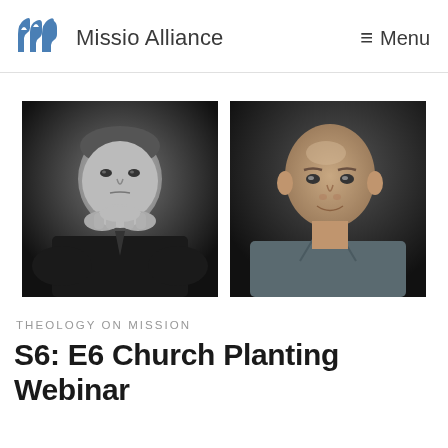Missio Alliance — Menu
[Figure (photo): Two black-and-white portrait photographs side by side: left photo shows a middle-aged man with hands clasped under his chin, right photo shows a bald man looking at camera with a slight smile]
THEOLOGY ON MISSION
S6: E6 Church Planting Webinar